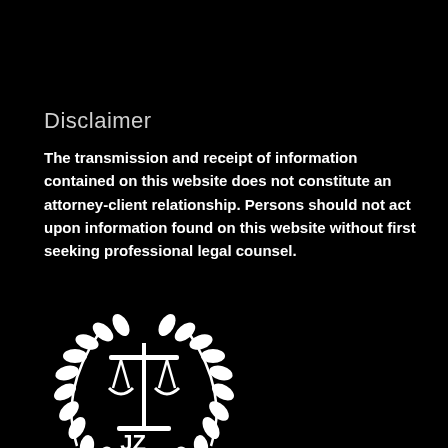Disclaimer
The transmission and receipt of information contained on this website does not constitute an attorney-client relationship. Persons should not act upon information found on this website without first seeking professional legal counsel.
[Figure (logo): Law Office of Jenna Zebrowski, PLLC logo — scales of justice inside a laurel wreath with JZ monogram below, white on black]
The Law Office of
Jenna Zebrowski, PLLC